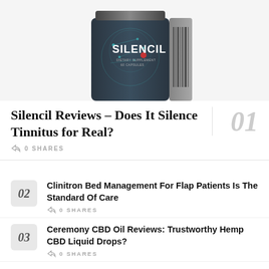[Figure (photo): Product photo of Silencil supplement bottle with dark blue label showing brain graphic and product name SILENCIL]
Silencil Reviews – Does It Silence Tinnitus for Real?
0 SHARES
Clinitron Bed Management For Flap Patients Is The Standard Of Care
0 SHARES
Ceremony CBD Oil Reviews: Trustworthy Hemp CBD Liquid Drops?
0 SHARES